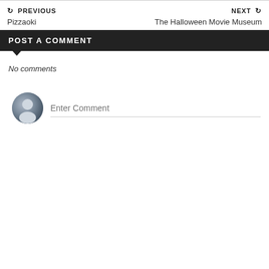← PREVIOUS | NEXT →
Pizzaoki
The Halloween Movie Museum
POST A COMMENT
No comments
[Figure (other): User avatar placeholder circle with silhouette icon and comment input field with placeholder text 'Enter Comment']